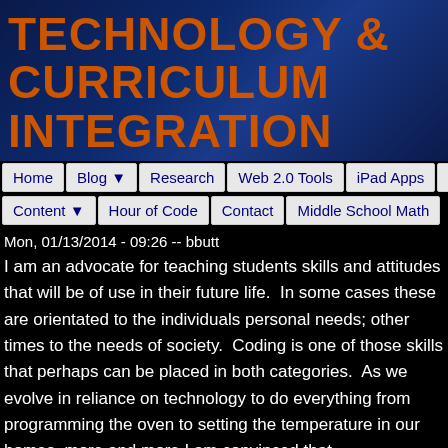TECHNOLOGY & CURRICULUM INTEGRATION
Home | Blog ▼ | Research | Web 2.0 Tools | iPad Apps | 3-D Design | Content ▼ | Hour of Code | Contact | Middle School Math
Mon, 01/13/2014 - 09:26 -- bbutt
I am an advocate for teaching students skills and attitudes that will be of use in their future life.  In some cases these are orientated to the individuals personal needs; other times to the needs of society.  Coding is one of those skills that perhaps can be placed in both categories.  As we evolve in reliance on technology to do everything from programming the oven to setting the temperature in our homes, more and more I am convinced that understanding computer language is an important component of every students' future life.  A component that is sorely lacking from curricula in Nova Scotia.